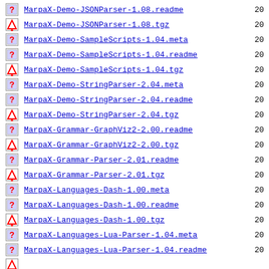MarpaX-Demo-JSONParser-1.08.readme  20
MarpaX-Demo-JSONParser-1.08.tgz  20
MarpaX-Demo-SampleScripts-1.04.meta  20
MarpaX-Demo-SampleScripts-1.04.readme  20
MarpaX-Demo-SampleScripts-1.04.tgz  20
MarpaX-Demo-StringParser-2.04.meta  20
MarpaX-Demo-StringParser-2.04.readme  20
MarpaX-Demo-StringParser-2.04.tgz  20
MarpaX-Grammar-GraphViz2-2.00.readme  20
MarpaX-Grammar-GraphViz2-2.00.tgz  20
MarpaX-Grammar-Parser-2.01.readme  20
MarpaX-Grammar-Parser-2.01.tgz  20
MarpaX-Languages-Dash-1.00.meta  20
MarpaX-Languages-Dash-1.00.readme  20
MarpaX-Languages-Dash-1.00.tgz  20
MarpaX-Languages-Lua-Parser-1.04.meta  20
MarpaX-Languages-Lua-Parser-1.04.readme  20